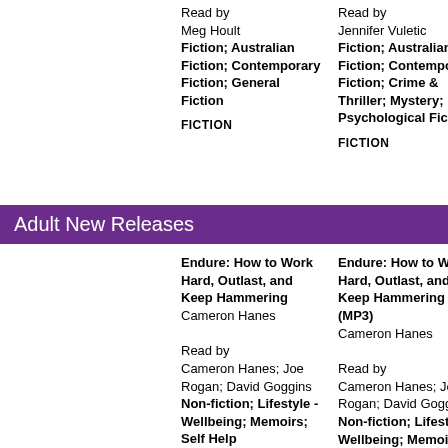Read by Meg Hoult
Fiction; Australian Fiction; Contemporary Fiction; General Fiction
FICTION
Read by Jennifer Vuletic
Fiction; Australian Fiction; Contemporary Fiction; Crime & Thriller; Mystery; Psychological Fiction
FICTION
Read by Jennifer [truncated]
Fiction; [truncated]
FICTION
Adult New Releases
Endure: How to Work Hard, Outlast, and Keep Hammering
Cameron Hanes
Read by Cameron Hanes; Joe Rogan; David Goggins
Non-fiction; Lifestyle - Wellbeing; Memoirs; Self Help
NON FICTION
Endure: How to Work Hard, Outlast, and Keep Hammering (MP3)
Cameron Hanes
Read by Cameron Hanes; Joe Rogan; David Goggins
Non-fiction; Lifestyle - Wellbeing; Memoirs; Self Help
NON FICTION
Relea...
Lucy C...
Read by Lucy C...
Fiction; Fiction; Thrille...
FICTIO...
Adult New Releases
Girlhood: Raising...